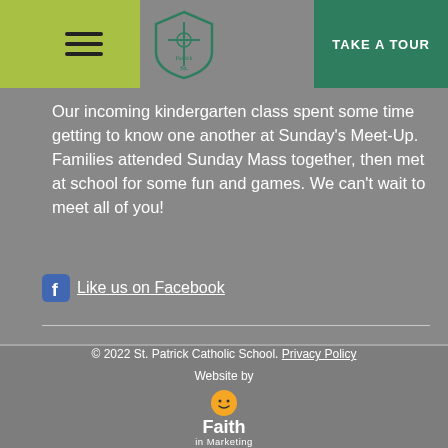St. Patrick Catholic School — TAKE A TOUR
Our incoming kindergarten class spent some time getting to know one another at Sunday's Meet-Up. Families attended Sunday Mass together, then met at school for some fun and games. We can't wait to meet all of you!
Like us on Facebook
© 2022 St. Patrick Catholic School. Privacy Policy
Website by Faith in Marketing